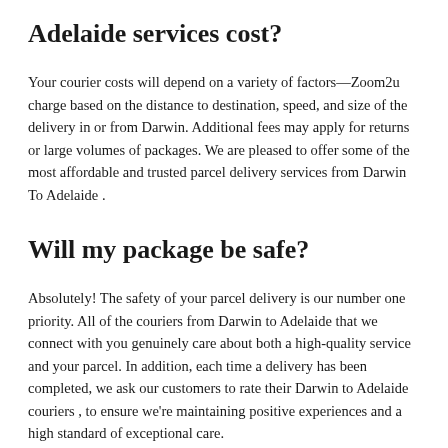Adelaide services cost?
Your courier costs will depend on a variety of factors—Zoom2u charge based on the distance to destination, speed, and size of the delivery in or from Darwin. Additional fees may apply for returns or large volumes of packages. We are pleased to offer some of the most affordable and trusted parcel delivery services from Darwin To Adelaide .
Will my package be safe?
Absolutely! The safety of your parcel delivery is our number one priority. All of the couriers from Darwin to Adelaide that we connect with you genuinely care about both a high-quality service and your parcel. In addition, each time a delivery has been completed, we ask our customers to rate their Darwin to Adelaide couriers , to ensure we're maintaining positive experiences and a high standard of exceptional care.
Can I call my delivery driver?